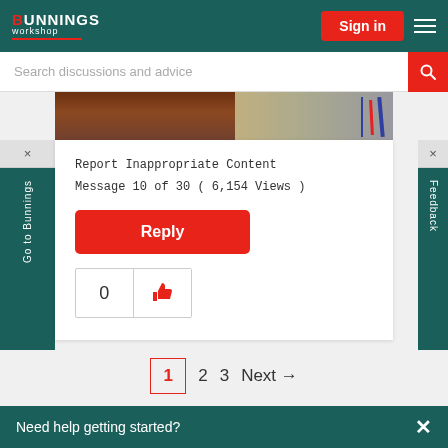[Figure (screenshot): Bunnings Workshop website header with logo, Sign in button, and hamburger menu on teal background]
[Figure (screenshot): Search bar with placeholder text 'Search discussions and advice' and red search icon]
[Figure (photo): Partial photo of construction wiring/cables on floor with grey ladder visible]
Report Inappropriate Content
Message 10 of 30 ( 6,154 Views )
[Figure (screenshot): Red Reply button]
[Figure (screenshot): Like/thumbs up widget showing count 0 with red thumbs up icon]
[Figure (screenshot): Pagination showing pages 1 (active), 2, 3, Next arrow]
Need help getting started?
[Figure (screenshot): Side tab labels: Go to Bunnings (left) and Feedback (right) with X close buttons]